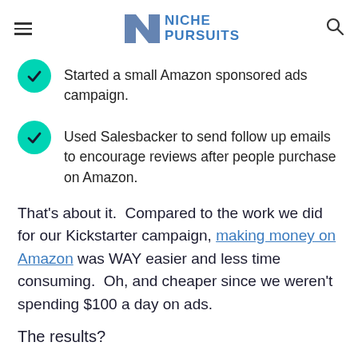NICHE PURSUITS
Started a small Amazon sponsored ads campaign.
Used Salesbacker to send follow up emails to encourage reviews after people purchase on Amazon.
That's about it.  Compared to the work we did for our Kickstarter campaign, making money on Amazon was WAY easier and less time consuming.  Oh, and cheaper since we weren't spending $100 a day on ads.
The results?